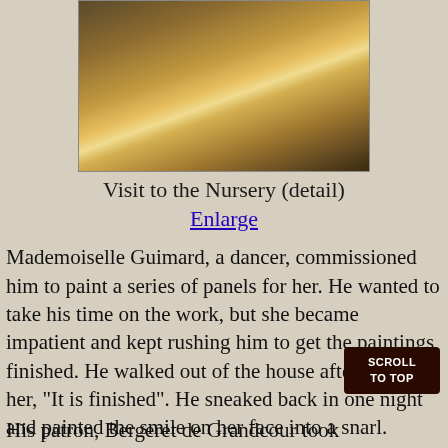[Figure (photo): Detail of a painting titled 'Visit to the Nursery', showing warm golden-brown tones with figures near a cradle or basket, classical painting style.]
Visit to the Nursery (detail)
Enlarge
Mademoiselle Guimard, a dancer, commissioned him to paint a series of panels for her. He wanted to take his time on the work, but she became impatient and kept rushing him to get the paintings finished. He walked out of the house after telling her, "It is finished". He sneaked back in one night and painted the smile on her face into a snarl.
His patron, Bergeret de Grandcour took